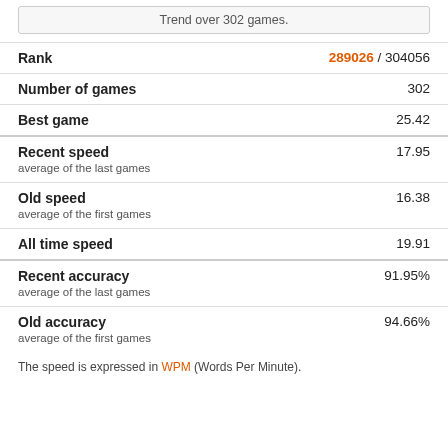Trend over 302 games.
| Stat | Value |
| --- | --- |
| Rank | 289026 / 304056 |
| Number of games | 302 |
| Best game | 25.42 |
| Recent speed
average of the last games | 17.95 |
| Old speed
average of the first games | 16.38 |
| All time speed | 19.91 |
| Recent accuracy
average of the last games | 91.95% |
| Old accuracy
average of the first games | 94.66% |
The speed is expressed in WPM (Words Per Minute).